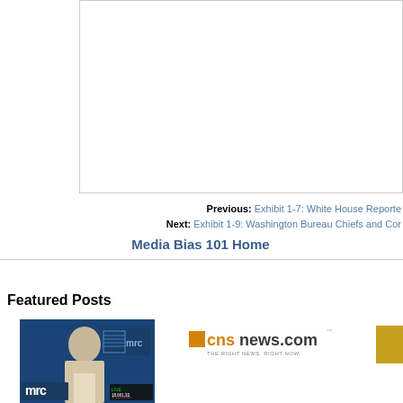[Figure (other): White rectangular box/frame, partially visible, with a thin gray border]
Previous: Exhibit 1-7: White House Reporte
Next: Exhibit 1-9: Washington Bureau Chiefs and Cor
Media Bias 101 Home
Featured Posts
[Figure (photo): Man with white/gray hair in front of MRC (Media Research Center) blue background with logo]
[Figure (logo): cnsnews.com logo - The Right News. Right Now.]
[Figure (other): Partial gold/yellow box at right edge]